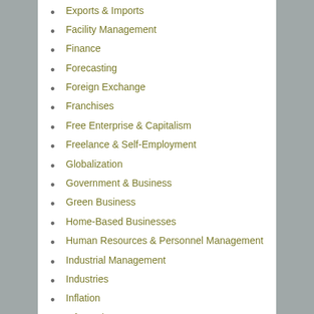Exports & Imports
Facility Management
Finance
Forecasting
Foreign Exchange
Franchises
Free Enterprise & Capitalism
Freelance & Self-Employment
Globalization
Government & Business
Green Business
Home-Based Businesses
Human Resources & Personnel Management
Industrial Management
Industries
Inflation
Information Management
Infrastructure
Insurance
Interest
International
Investments & Securities
Islamic Banking & Finance
Knowledge Capital